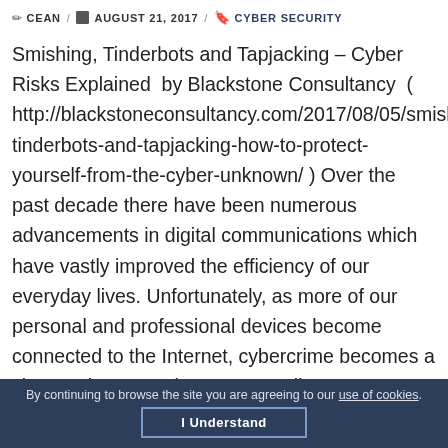✏ CEAN / 📅 AUGUST 21, 2017 / 🔖 CYBER SECURITY
Smishing, Tinderbots and Tapjacking – Cyber Risks Explained  by Blackstone Consultancy  ( http://blackstoneconsultancy.com/2017/08/05/smishing-tinderbots-and-tapjacking-how-to-protect-yourself-from-the-cyber-unknown/ ) Over the past decade there have been numerous advancements in digital communications which have vastly improved the efficiency of our everyday lives. Unfortunately, as more of our personal and professional devices become connected to the Internet, cybercrime becomes a clear and present danger. According to Norton …
By continuing to browse the site you are agreeing to our use of cookies. I Understand